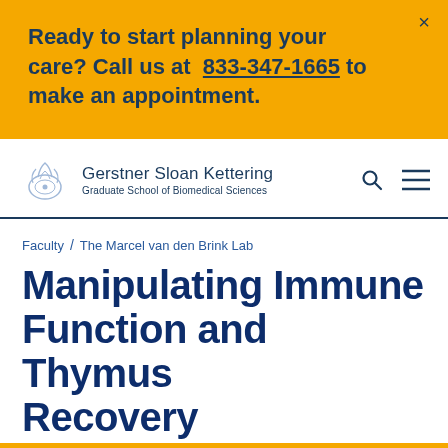Ready to start planning your care? Call us at 833-347-1665 to make an appointment.
Gerstner Sloan Kettering Graduate School of Biomedical Sciences
Faculty / The Marcel van den Brink Lab
Manipulating Immune Function and Thymus Recovery